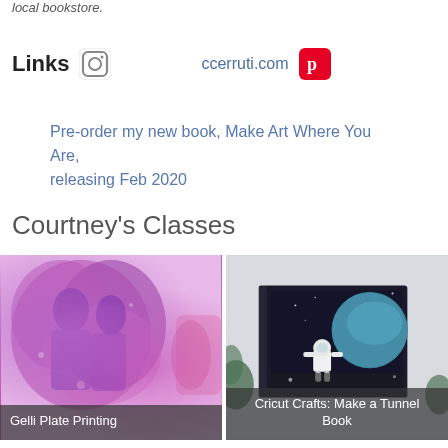local bookstore.
Links  ccerruti.com
Pre-order my new book, Make Art Where You Are, releasing Feb 2020
Courtney's Classes
[Figure (photo): Gelli Plate Printing class thumbnail showing purple/pink printed artwork on a tile]
[Figure (photo): Cricut Crafts: Make a Tunnel Book class thumbnail showing a book with astronaut in space scene]